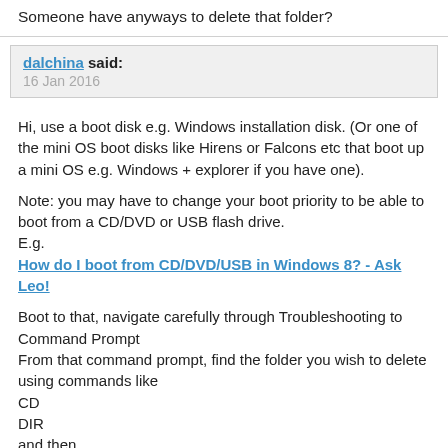Someone have anyways to delete that folder?
dalchina said:
16 Jan 2016
Hi, use a boot disk e.g. Windows installation disk. (Or one of the mini OS boot disks like Hirens or Falcons etc that boot up a mini OS e.g. Windows + explorer if you have one).
Note: you may have to change your boot priority to be able to boot from a CD/DVD or USB flash drive.
E.g.
How do I boot from CD/DVD/USB in Windows 8? - Ask Leo!
Boot to that, navigate carefully through Troubleshooting to Command Prompt
From that command prompt, find the folder you wish to delete using commands like
CD
DIR
and then
DEL